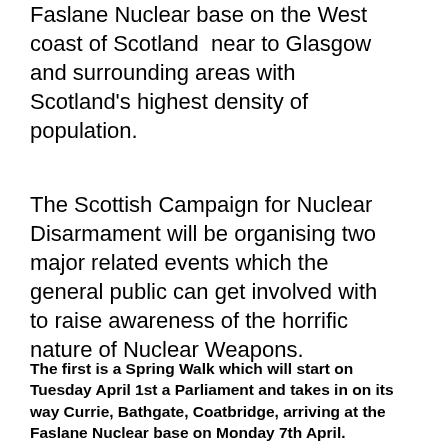Faslane Nuclear base on the West coast of Scotland  near to Glasgow and surrounding areas with Scotland's highest density of population.
The Scottish Campaign for Nuclear Disarmament will be organising two major related events which the general public can get involved with to raise awareness of the horrific nature of Nuclear Weapons.
The first is a Spring Walk which will start on Tuesday April 1st a… Parliament and takes in on its way Currie, Bathgate, Coatbridge… arriving at the Faslane Nuclear base on Monday 7th April.
One of our local members Alister Coutts ( pictured ) who is going on… doing so.
“Even though I’ve been involved in environmental activism for a… Scottish CND for all that long and only went to Faslane for the fi…